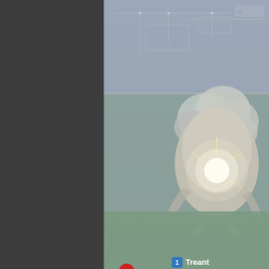[Figure (screenshot): RPG battle screenshot showing a Treant enemy monster (large tree-creature) against a futuristic grid background. Two character panels visible at the bottom: Reid (HP 2,835, MP 292, TP 50) and Michelle (HP 3,01X, MP 359, TP 60). Red numbered badges indicate turn order. Left side shows dark sidebar/panel UI.]
---
<PTB Pass Turn>
- Used for: Skill, Item Notetag
  If a battler uses this ski...